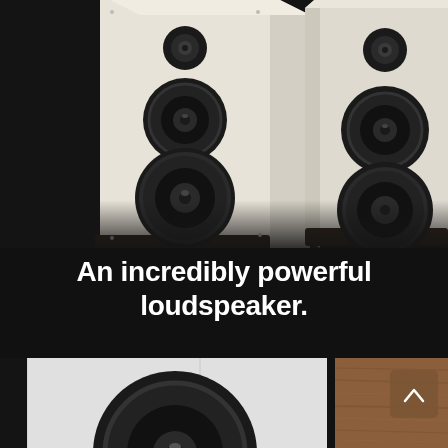[Figure (photo): Two tall floor-standing loudspeakers with cream/white cabinet finish and dark speaker drivers, photographed on a dark black background. The left speaker shows three drivers (tweeter, midrange, woofer). The right speaker is partially visible showing similar drivers.]
An incredibly powerful loudspeaker.
[Figure (photo): Bottom strip showing a close-up of a speaker driver cone in a white cabinet on the left, and a walnut wood-finish speaker cabinet with a small arrow/chevron button on the right.]